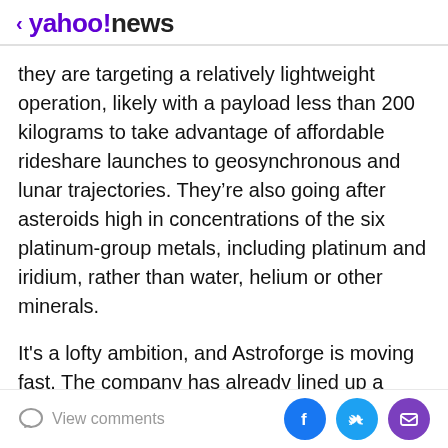< yahoo!news
they are targeting a relatively lightweight operation, likely with a payload less than 200 kilograms to take advantage of affordable rideshare launches to geosynchronous and lunar trajectories. They’re also going after asteroids high in concentrations of the six platinum-group metals, including platinum and iridium, rather than water, helium or other minerals.
It's a lofty ambition, and Astroforge is moving fast. The company has already lined up a partnership with OrbAstro to manufacture the first satellite for the demo mission, and Astroforge has also acquired a spot on a SpaceX Falcon 9 rideshare mission. It has also identified a number of candidate asteroids that are in a suitable
View comments